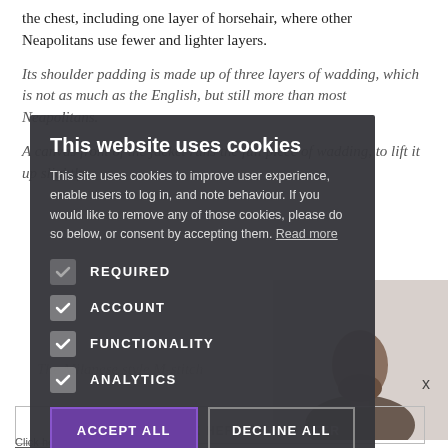the chest, including one layer of horsehair, where other Neapolitans use fewer and lighter layers.
Its shoulder padding is made up of three layers of wadding, which is not as much as the English, but still more than most Neapolitans.
A canvas front of the jacket runs the full piece of wadding, to lift it up slightly.
[Figure (screenshot): Cookie consent overlay dialog on a dark semi-transparent background. Title: 'This website uses cookies'. Body text describes cookie usage. Checkboxes for REQUIRED, ACCOUNT, FUNCTIONALITY, ANALYTICS (all checked). Buttons: ACCEPT ALL (purple) and DECLINE ALL (outline).]
The Milanese style M-stitch
x
CLICK HERE TO REGISTER
Click here to read our Privacy Policy